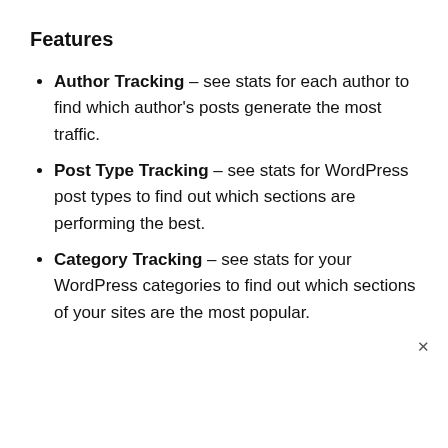Features
Author Tracking – see stats for each author to find which author's posts generate the most traffic.
Post Type Tracking – see stats for WordPress post types to find out which sections are performing the best.
Category Tracking – see stats for your WordPress categories to find out which sections of your sites are the most popular.